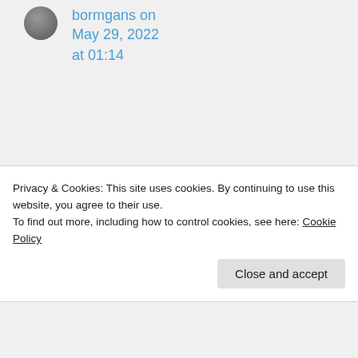bormgans on May 29, 2022 at 01:14
As I haven't reviewed Amber 1-5, my plan is to reread it someday. Could very well be I will
Privacy & Cookies: This site uses cookies. By continuing to use this website, you agree to their use. To find out more, including how to control cookies, see here: Cookie Policy
Close and accept